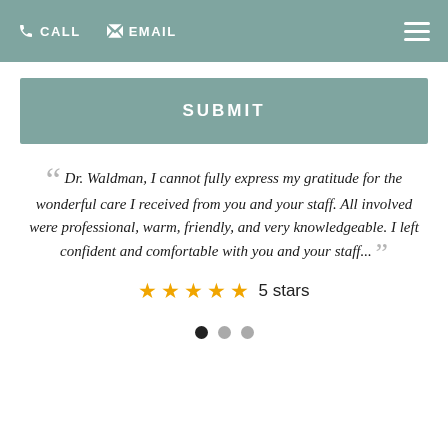CALL   EMAIL
SUBMIT
Dr. Waldman, I cannot fully express my gratitude for the wonderful care I received from you and your staff. All involved were professional, warm, friendly, and very knowledgeable. I left confident and comfortable with you and your staff...
5 stars